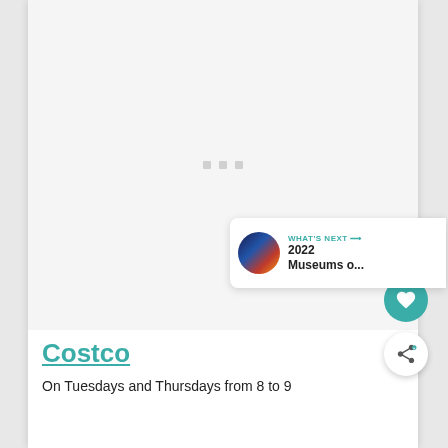[Figure (other): Large image area loading placeholder with three small grey dots (loading indicator) centered in a white/light grey rectangle]
Costco
On Tuesdays and Thursdays from 8 to 9